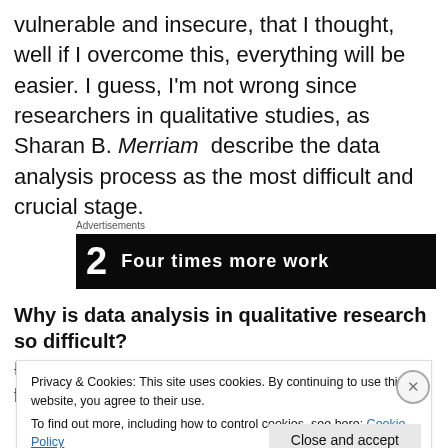vulnerable and insecure, that I thought, well if I overcome this, everything will be easier. I guess, I'm not wrong since researchers in qualitative studies, as Sharan B. Merriam describe the data analysis process as the most difficult and crucial stage.
[Figure (screenshot): Advertisement banner with dark background showing '2 Four times more work' text.]
Why is data analysis in qualitative research so difficult?
Data analysis is the crucial stage of the research process
Privacy & Cookies: This site uses cookies. By continuing to use this website, you agree to their use.
To find out more, including how to control cookies, see here: Cookie Policy